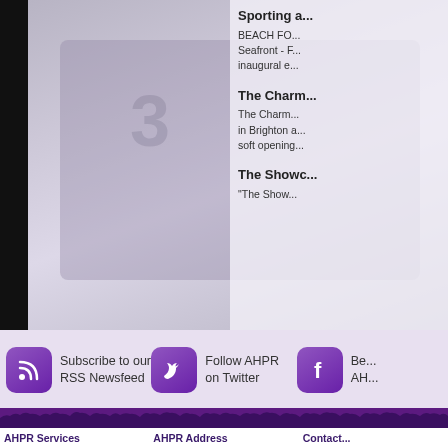[Figure (photo): Horse racing or sporting event photo with jockey wearing number 3, partially faded/washed out. Dark crowd silhouette on left edge.]
Sporting a...
BEACH FO... Seafront - F... inaugural e...
The Charm...
The Charm... in Brighton a... soft opening...
The Showc...
"The Show...
Subscribe to our RSS Newsfeed
Follow AHPR on Twitter
Be... AH...
AHPR Services    AHPR Address    Contact...